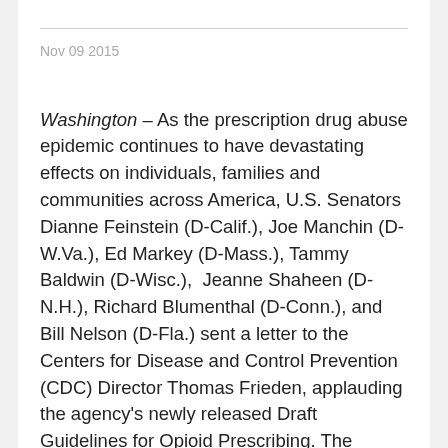Nov 09 2015
Washington – As the prescription drug abuse epidemic continues to have devastating effects on individuals, families and communities across America, U.S. Senators Dianne Feinstein (D-Calif.), Joe Manchin (D-W.Va.), Ed Markey (D-Mass.), Tammy Baldwin (D-Wisc.), Jeanne Shaheen (D-N.H.), Richard Blumenthal (D-Conn.), and Bill Nelson (D-Fla.) sent a letter to the Centers for Disease and Control Prevention (CDC) Director Thomas Frieden, applauding the agency's newly released Draft Guidelines for Opioid Prescribing. The Senators believe that the new guidelines will help encourage responsible opioid prescribing practices and curb the growing opioid epidemic. The final Guidelines for Opioid Prescribing will be